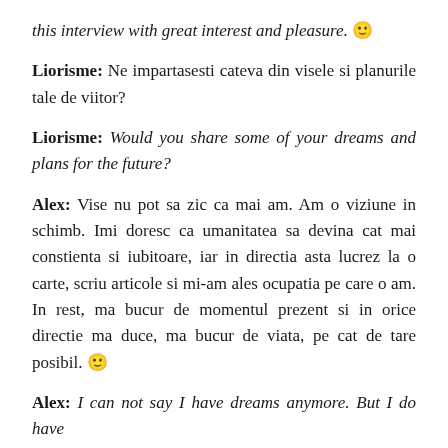this interview with great interest and pleasure. 🙂
Liorisme: Ne impartasesti cateva din visele si planurile tale de viitor?
Liorisme: Would you share some of your dreams and plans for the future?
Alex: Vise nu pot sa zic ca mai am. Am o viziune in schimb. Imi doresc ca umanitatea sa devina cat mai constienta si iubitoare, iar in directia asta lucrez la o carte, scriu articole si mi-am ales ocupatia pe care o am. In rest, ma bucur de momentul prezent si in orice directie ma duce, ma bucur de viata, pe cat de tare posibil. 🙂
Alex: I can not say I have dreams anymore. But I do have